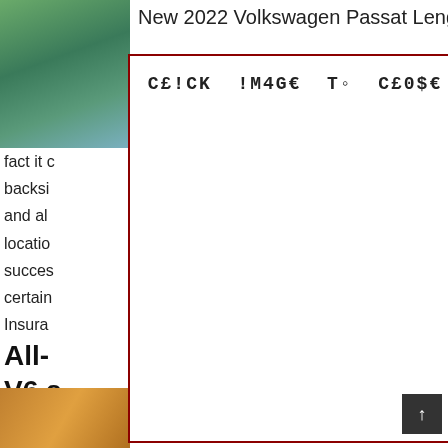[Figure (photo): Photo of a teal/green Volkswagen Passat on a scenic road with hills and water in the background, top-left corner]
New 2022 Volkswagen Passat Length,
[Figure (other): Modal dialog box with dark red border containing text 'CE!CK !M4GE To CE0$E' in monospace font, covering central portion of the page]
agen of the fact it backsi course and al location e of succes certain your Insura
All- t V6 S Hea
[Figure (photo): Partial photo visible at bottom-left, showing warm/orange tones]